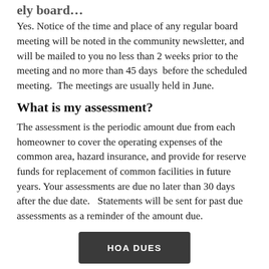ely board…
Yes. Notice of the time and place of any regular board meeting will be noted in the community newsletter, and will be mailed to you no less than 2 weeks prior to the meeting and no more than 45 days before the scheduled meeting.  The meetings are usually held in June.
What is my assessment?
The assessment is the periodic amount due from each homeowner to cover the operating expenses of the common area, hazard insurance, and provide for reserve funds for replacement of common facilities in future years. Your assessments are due no later than 30 days after the due date.   Statements will be sent for past due assessments as a reminder of the amount due.
[Figure (other): Dark button labeled HOA DUES]
How is the amount of my assessment determined?